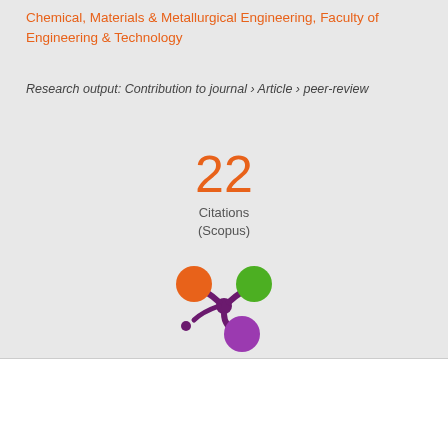Chemical, Materials & Metallurgical Engineering, Faculty of Engineering & Technology
Research output: Contribution to journal › Article › peer-review
22 Citations (Scopus)
[Figure (logo): Altmetric donut-style logo with orange, green, and purple circles connected by dark purple splat shape]
We use cookies to analyse and improve our service. Cookie Policy